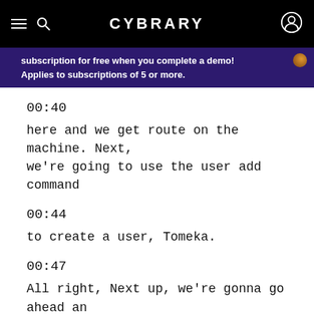CYBRARY
subscription for free when you complete a demo! Applies to subscriptions of 5 or more.
00:40
here and we get route on the machine. Next, we're going to use the user add command
00:44
to create a user, Tomeka.
00:47
All right, Next up, we're gonna go ahead and create a password for Tamika. In this case, we're just gonna use password with a capit and use a zero instead of an O because we're